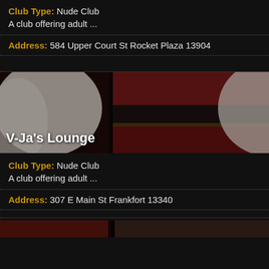Club Type: Nude Club
A club offering adult ...
Address: 584 Upper Court St Rocket Plaza 13904
[Figure (photo): Club interior/lounge photo with man seated in red booth, flanked by partial views of person in white]
V-Ja's Lounge
Club Type: Nude Club
A club offering adult ...
Address: 307 E Main St Frankfort 13340
[Figure (photo): Partial photo strip at bottom of page]